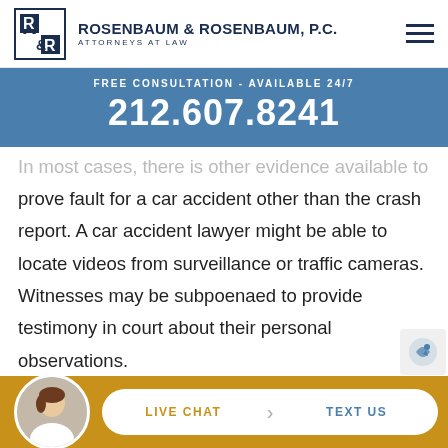ROSENBAUM & ROSENBAUM, P.C. ATTORNEYS AT LAW
FREE CONSULTATION - AVAILABLE 24/7
212.607.8241
In most cases, there is other evidence available to prove fault for a car accident other than the crash report. A car accident lawyer might be able to locate videos from surveillance or traffic cameras. Witnesses may be subpoenaed to provide testimony in court about their personal observations.
LIVE CHAT  TEXT US